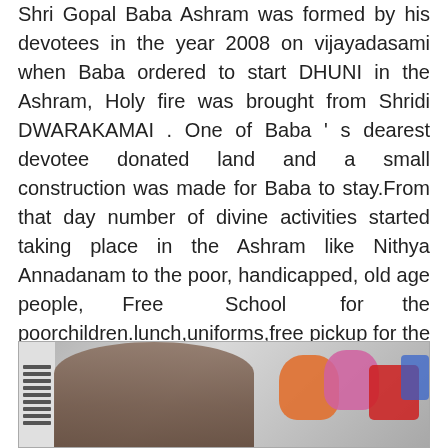Shri Gopal Baba Ashram was formed by his devotees in the year 2008 on vijayadasami when Baba ordered to start DHUNI in the Ashram, Holy fire was brought from Shridi DWARAKAMAI . One of Baba ' s dearest devotee donated land and a small construction was made for Baba to stay.From that day number of divine activities started taking place in the Ashram like Nithya Annadanam to the poor, handicapped, old age people, Free School for the poorchildren.lunch,uniforms,free pickup for the children. One of the most important activity happening in Ashram is Go Samrakshan (Go Shala) All these programmes are going on by the blessings of Shri Gopal Baba Maharaj.
[Figure (photo): A photograph showing a person (likely Shri Gopal Baba Maharaj) seated, with colorful items (orange, pink, red objects) visible in the background and a striped pattern on the left side.]